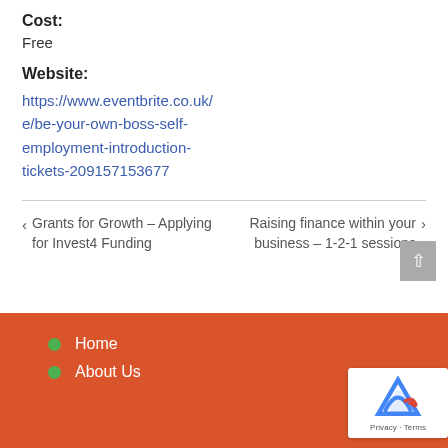Cost:
Free
Website:
https://www.eventbrite.co.uk/e/be-your-own-boss-self-employment-introduction-tickets-209157153677
< Grants for Growth – Applying for Invest4 Funding
Raising finance within your business – 1-2-1 sessions >
Home
About Us